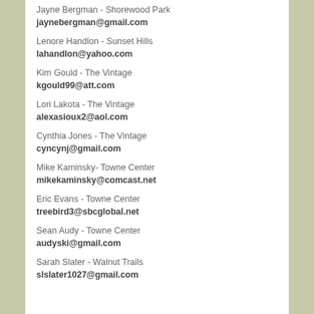Jayne Bergman - Shorewood Park
jaynebergman@gmail.com
Lenore Handlon - Sunset Hills
lahandlon@yahoo.com
Kim Gould - The Vintage
kgould99@att.com
Lori Lakota - The Vintage
alexasioux2@aol.com
Cynthia Jones - The Vintage
cyncynj@gmail.com
Mike Kaminsky- Towne Center
mikekaminsky@comcast.net
Eric Evans - Towne Center
treebird3@sbcglobal.net
Sean Audy - Towne Center
audyski@gmail.com
Sarah Slater - Walnut Trails
slslater1027@gmail.com